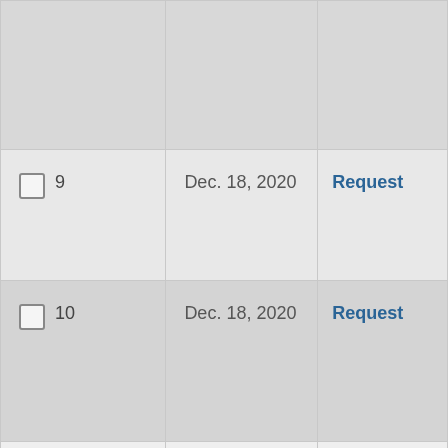| Item | Date | Action |
| --- | --- | --- |
|  |  |  |
| 9 | Dec. 18, 2020 | Request |
| 10 | Dec. 18, 2020 | Request |
| 11 | Dec. 18, 2020 | Request |